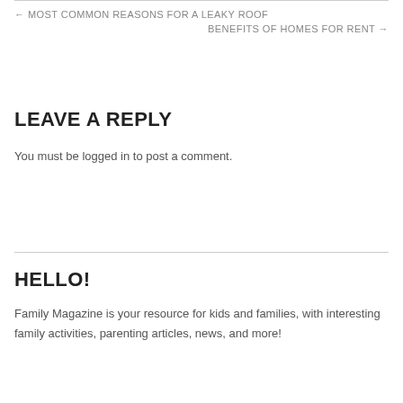← MOST COMMON REASONS FOR A LEAKY ROOF
BENEFITS OF HOMES FOR RENT →
LEAVE A REPLY
You must be logged in to post a comment.
HELLO!
Family Magazine is your resource for kids and families, with interesting family activities, parenting articles, news, and more!